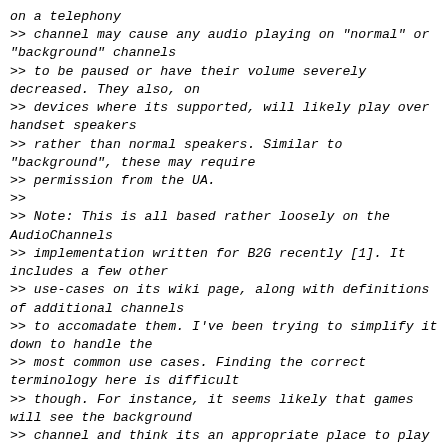on a telephony
>> channel may cause any audio playing on "normal" or "background" channels
>> to be paused or have their volume severely decreased. They also, on
>> devices where its supported, will likely play over handset speakers
>> rather than normal speakers. Similar to "background", these may require
>> permission from the UA.
>>
>> Note: This is all based rather loosely on the AudioChannels
>> implementation written for B2G recently [1]. It includes a few other
>> use-cases on its wiki page, along with definitions of additional channels
>> to accomadate them. I've been trying to simplify it down to handle the
>> most common use cases. Finding the correct terminology here is difficult
>> though. For instance, it seems likely that games will see the background
>> channel and think its an appropriate place to play game background music,
>> the exact type of audio you'd like to have paused when you leave the
>> game. Ideas for better ways to describe it are welcome.
>>